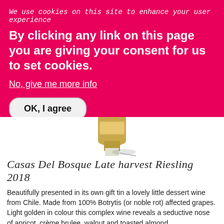We use cookies on this site to enhance your user experience
By clicking any link on this page you are giving your consent for us to set cookies.
No, give me more info
OK, I agree
[Figure (photo): Bottom portion of a wine bottle with golden label and white capsule, partially visible]
Casas Del Bosque Late harvest Riesling 2018
Beautifully presented in its own gift tin a lovely little dessert wine from Chile. Made from 100% Botrytis (or noble rot) affected grapes. Light golden in colour this complex wine reveals a seductive nose of apricot, crème brulee, walnut and toasted almond.
Country:    Type:    Vintage:    Bottle Size: